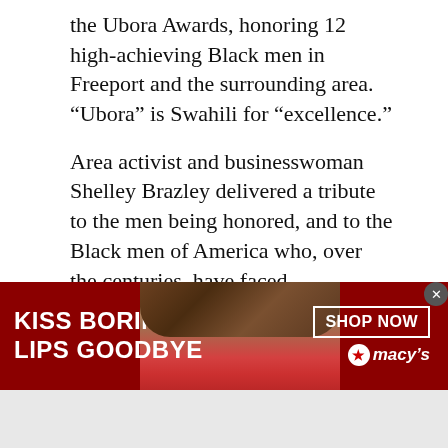the Ubora Awards, honoring 12 high-achieving Black men in Freeport and the surrounding area. “Ubora” is Swahili for “excellence.”
Area activist and businesswoman Shelley Brazley delivered a tribute to the men being honored, and to the Black men of America who, over the centuries, have faced persecution and death in the fight for equality.
“Whereas we have intentionally set aside this time to celebrate you,” Brazley said, “you, our brothers, are the epitome of Black excellence. Your strength, your intellect, resilience and brilliance are an
[Figure (other): Macy's advertisement banner with dark red background showing a woman's face with red lips, text 'KISS BORING LIPS GOODBYE' and 'SHOP NOW' button with Macy's logo]